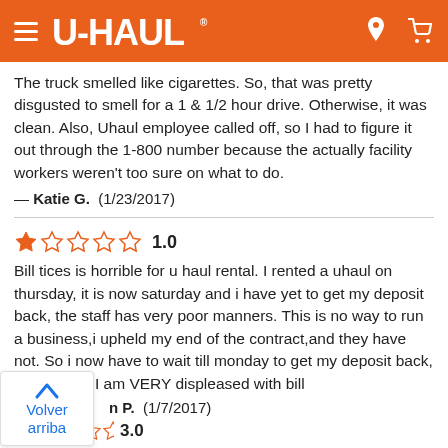U-HAUL
The truck smelled like cigarettes. So, that was pretty disgusted to smell for a 1 & 1/2 hour drive. Otherwise, it was clean. Also, Uhaul employee called off, so I had to figure it out through the 1-800 number because the actually facility workers weren't too sure on what to do.
— Katie G.  (1/23/2017)
[Figure (other): Star rating: 1.0 out of 5 stars]
Bill tices is horrible for u haul rental. I rented a uhaul on thursday, it is now saturday and i have yet to get my deposit back, the staff has very poor manners. This is no way to run a business,i upheld my end of the contract,and they have not. So i now have to wait till monday to get my deposit back,(hopefully). I am VERY displeased with bill
n P.  (1/7/2017)
[Figure (other): Back to top button with chevron up arrow, text: Volver arriba]
[Figure (other): Star rating: 3.0 stars visible at bottom]